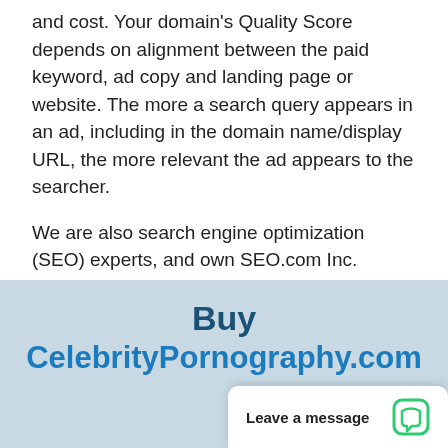and cost. Your domain's Quality Score depends on alignment between the paid keyword, ad copy and landing page or website. The more a search query appears in an ad, including in the domain name/display URL, the more relevant the ad appears to the searcher.
We are also search engine optimization (SEO) experts, and own SEO.com Inc. corporation with 40 employees. Let us know if you need help getting paid or organic traffic; help in getting to the top of Google.
Buy CelebrityPornography.com
Leave a message